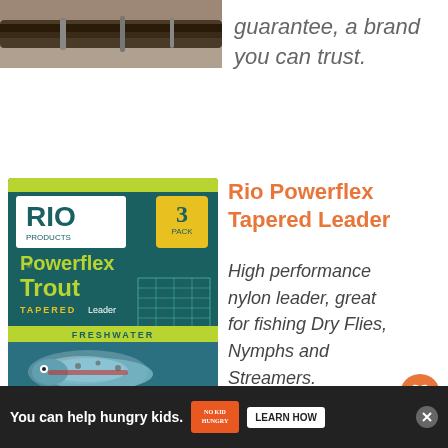[Figure (photo): Partial photo of a fishing rod at top left of page]
guarantee, a brand you can trust.
[Figure (photo): Rio Products Powerflex Trout Tapered Leader 3-pack product packaging showing a trout underwater]
Rio Powerflex Tapered Leader
High performance nylon leader, great for fishing Dry Flies, Nymphs and Streamers.
Rio Powerflex Tippet
Excellent lea...
You can help hungry kids. | NO KID HUNGRY | LEARN HOW